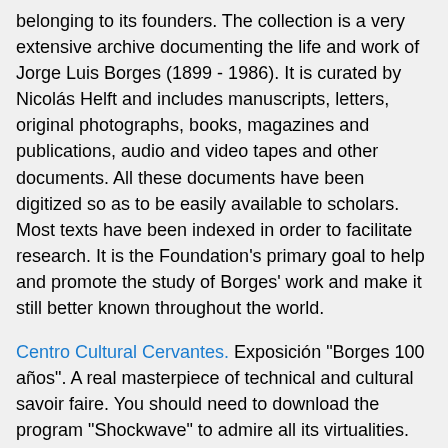belonging to its founders. The collection is a very extensive archive documenting the life and work of Jorge Luis Borges (1899 - 1986). It is curated by Nicolás Helft and includes manuscripts, letters, original photographs, books, magazines and publications, audio and video tapes and other documents. All these documents have been digitized so as to be easily available to scholars. Most texts have been indexed in order to facilitate research. It is the Foundation's primary goal to help and promote the study of Borges' work and make it still better known throughout the world.
Centro Cultural Cervantes. Exposición "Borges 100 años". A real masterpiece of technical and cultural savoir faire. You should need to download the program "Shockwave" to admire all its virtualities. Dont miss it!
Literatura Argentina Contemporánea: this magnificent site contains a special page about Borges. With texts. Dont miss it, even for other authors.